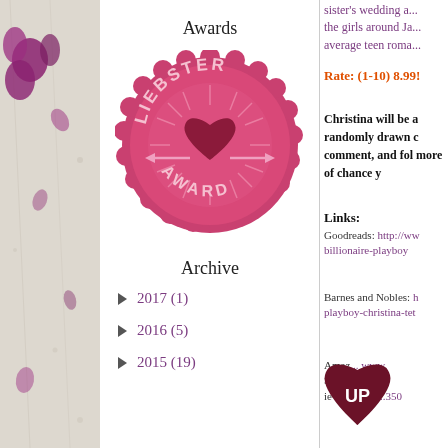[Figure (illustration): Left strip with floral/nature background texture and purple flower petals]
Awards
[Figure (logo): Liebster Award badge - pink scalloped circular badge with heart and arrows, text reads LIEBSTER AWARD]
Archive
► 2017 (1)
► 2016 (5)
► 2015 (19)
sister's wedding a... the girls around Ja... average teen roma...
Rate: (1-10) 8.99!
Christina will be a randomly drawn c comment, and fol more of chance y
Links:
Goodreads: http://ww billionaire-playboy
Barnes and Nobles: h playboy-christina-tet
Amaz... www. Sherb... bo... ie=UT...&qi...350
[Figure (logo): Dark red/maroon heart-shaped UP badge overlay]